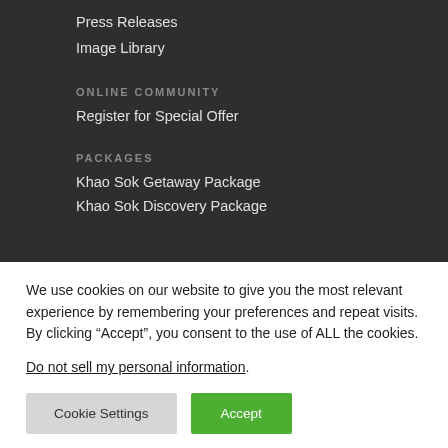Press Releases
Image Library
ONLINE COMMUNITY
Register for Special Offer
PACKAGES
Khao Sok Getaway Package
Khao Sok Discovery Package
We use cookies on our website to give you the most relevant experience by remembering your preferences and repeat visits. By clicking “Accept”, you consent to the use of ALL the cookies.
Do not sell my personal information.
Cookie Settings  Accept